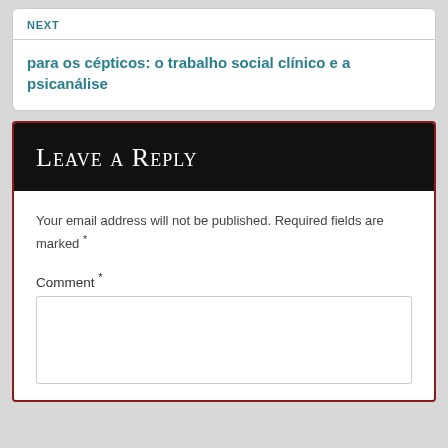NEXT
para os cépticos: o trabalho social clínico e a psicanálise
Leave a Reply
Your email address will not be published. Required fields are marked *
Comment *